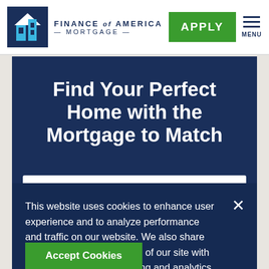[Figure (logo): Finance of America Mortgage logo with blue box containing house/person icon and brand name text]
APPLY
MENU
Find Your Perfect Home with the Mortgage to Match
This website uses cookies to enhance user experience and to analyze performance and traffic on our website. We also share information about your use of our site with our social media, advertising and analytics partners.
Accept Cookies